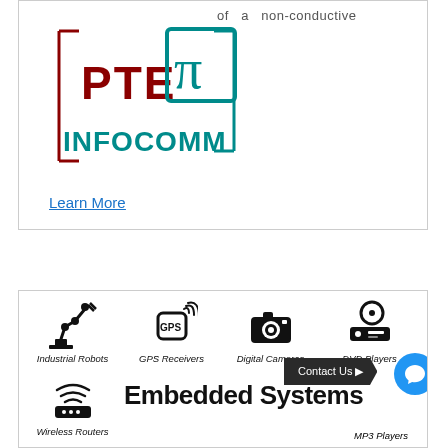[Figure (logo): PTE Pi Infocomm logo with red PTE text, teal pi symbol in a teal-bordered box, and teal INFOCOMM text]
of a non-conductive
Learn More
[Figure (infographic): Grid of embedded systems product icons: Industrial Robots, GPS Receivers, Digital Cameras, DVD Players, Wireless Routers, Embedded Systems, MP3 Players with Contact Us button overlay]